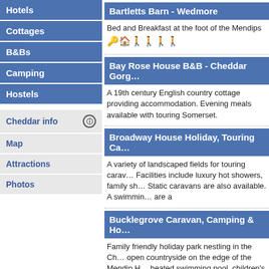Hotels
Cottages
B&Bs
Camping
Hostels
Cheddar info
Map
Attractions
Photos
Bartletts Barn - Wedmore
Bed and Breakfast at the foot of the Mendips
Bay Rose House B&B - Cheddar Gorge
A 19th century English country cottage providing accommodation. Evening meals available with touring Somerset.
Broadway House Holiday, Touring Ca...
A variety of landscaped fields for touring caravans. Facilities include luxury hot showers, family showers. Static caravans are also available. A swimming... are a
Bucklegrove Caravan, Camping & Ho...
Family friendly holiday park nestling in the Cheddar open countryside on the edge of the Mendip Hills. heated swimming pool, children's play park, b... show
★★★★